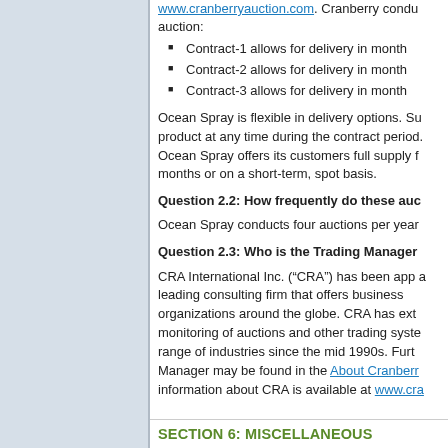www.cranberryauction.com. Cranberry conducts auction:
Contract-1 allows for delivery in month
Contract-2 allows for delivery in month
Contract-3 allows for delivery in month
Ocean Spray is flexible in delivery options. Su product at any time during the contract period. Ocean Spray offers its customers full supply f months or on a short-term, spot basis.
Question 2.2: How frequently do these auc
Ocean Spray conducts four auctions per year
Question 2.3: Who is the Trading Manager
CRA International Inc. (“CRA”) has been app a leading consulting firm that offers business organizations around the globe. CRA has ext monitoring of auctions and other trading syste range of industries since the mid 1990s. Furt Manager may be found in the About Cranberr information about CRA is available at www.cra
SECTION 6: MISCELLANEOUS